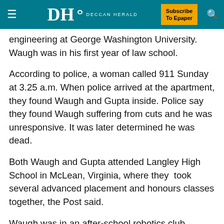DH DECCAN HERALD | Subscribe To Epaper
engineering at George Washington University. Waugh was in his first year of law school.
According to police, a woman called 911 Sunday at 3.25 a.m. When police arrived at the apartment, they found Waugh and Gupta inside. Police say they found Waugh suffering from cuts and he was unresponsive. It was later determined he was dead.
Both Waugh and Gupta attended Langley High School in McLean, Virginia, where they  took several advanced placement and honours classes together, the Post said.
Waugh was in an after-school robotics club. Gupta played on the varsity tennis team.